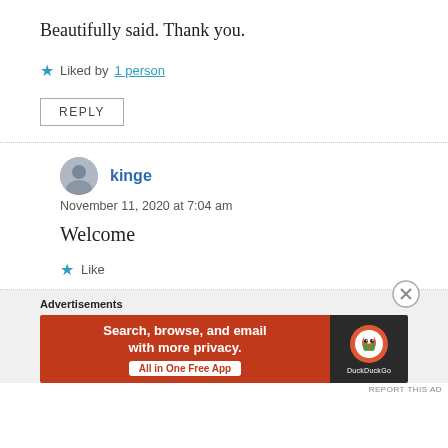Beautifully said. Thank you.
Liked by 1 person
REPLY
kinge
November 11, 2020 at 7:04 am
Welcome
Like
Advertisements
[Figure (other): DuckDuckGo advertisement banner: Search, browse, and email with more privacy. All in One Free App]